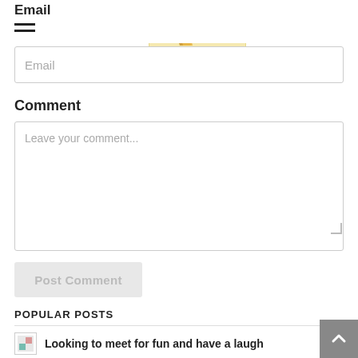Email
[Figure (logo): Hot Door logo with stylized golden flame/figure and cursive text 'Hot Door' on yellow background]
Email (placeholder input field)
Comment
Leave your comment... (placeholder textarea)
Post Comment (button)
POPULAR POSTS
Looking to meet for fun and have a laugh